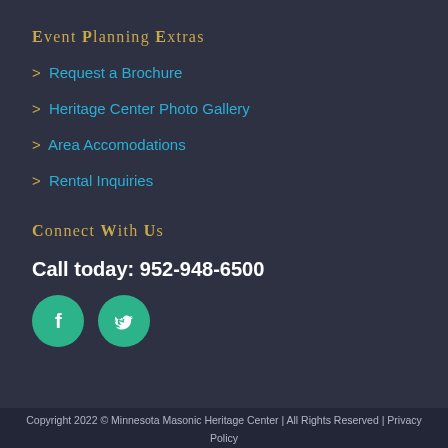Event Planning Extras
> Request a Brochure
> Heritage Center Photo Gallery
> Area Accomodations
> Rental Inquiries
Connect With Us
Call today: 952-948-6500
[Figure (illustration): Two green circular social media icons: Facebook (f) and Twitter (bird silhouette)]
Copyright 2022 © Minnesota Masonic Heritage Center | All Rights Reserved | Privacy Policy